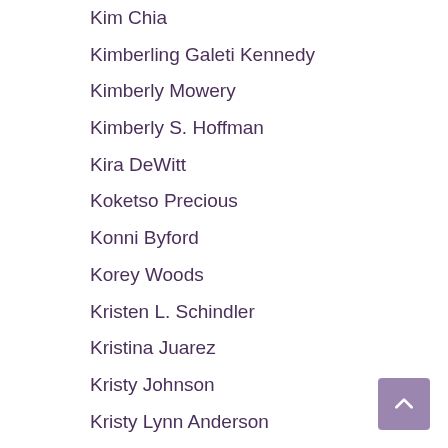Kim Chia
Kimberling Galeti Kennedy
Kimberly Mowery
Kimberly S. Hoffman
Kira DeWitt
Koketso Precious
Konni Byford
Korey Woods
Kristen L. Schindler
Kristina Juarez
Kristy Johnson
Kristy Lynn Anderson
Krystal Clarke